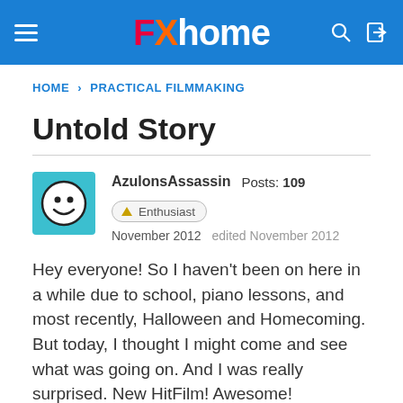FXhome
HOME › PRACTICAL FILMMAKING
Untold Story
AzulonsAssassin  Posts: 109  Enthusiast
November 2012  edited November 2012
Hey everyone! So I haven't been on here in a while due to school, piano lessons, and most recently, Halloween and Homecoming. But today, I thought I might come and see what was going on. And I was really surprised. New HitFilm! Awesome!
Anyway, thought I might share this set of scripts that I wrote to see what everyone thinks and to get an idea of how I should do a few things.